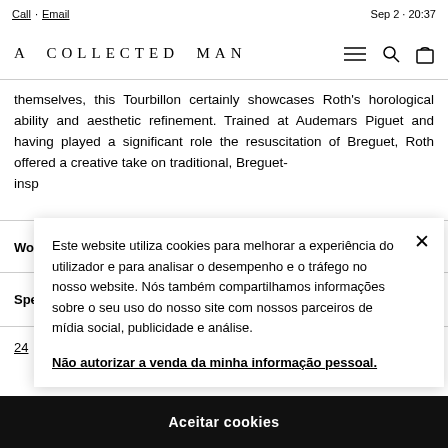Call · Email   Sep 2 · 20:37
A COLLECTED MAN
themselves, this Tourbillon certainly showcases Roth's horological ability and aesthetic refinement. Trained at Audemars Piguet and having played a significant role the resuscitation of Breguet, Roth offered a creative take on traditional, Breguet-insp
Wo +
Spe +
24
Este website utiliza cookies para melhorar a experiência do utilizador e para analisar o desempenho e o tráfego no nosso website. Nós também compartilhamos informações sobre o seu uso do nosso site com nossos parceiros de mídia social, publicidade e análise.
Não autorizar a venda da minha informação pessoal.
Aceitar cookies